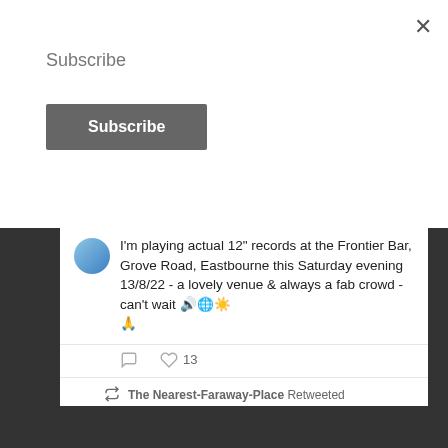Subscribe
Subscribe
I'm playing actual 12" records at the Frontier Bar, Grove Road, Eastbourne this Saturday evening 13/8/22 - a lovely venue & always a fab crowd - can't wait 🔊🌐☀️🙏
13
The Nearest-Faraway-Place Retweeted
Faith Fanz... @FaithFan... · Aug 12
Boys Own '86
IBIZA UPS
1. Listening to Fourelevenfortyfour by Pete Wylie as the sun comes up (amyl nitrate an optional extra).